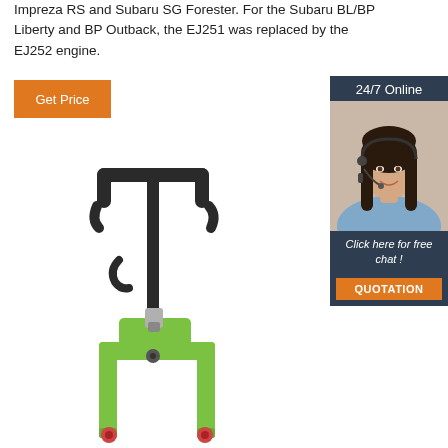Impreza RS and Subaru SG Forester. For the Subaru BL/BP Liberty and BP Outback, the EJ251 was replaced by the EJ252 engine.
[Figure (other): Orange 'Get Price' button]
[Figure (other): Sidebar with '24/7 Online' header, photo of a woman with headset, 'Click here for free chat!' text, and 'QUOTATION' orange button on dark blue background]
[Figure (illustration): Green pallet jack / hand truck illustration showing the handle/tiller and green forks at the bottom]